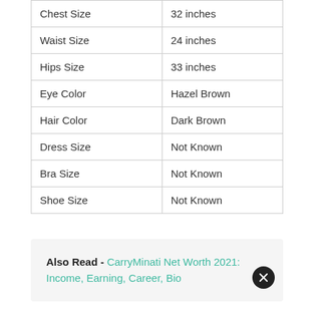| Chest Size | 32 inches |
| Waist Size | 24 inches |
| Hips Size | 33 inches |
| Eye Color | Hazel Brown |
| Hair Color | Dark Brown |
| Dress Size | Not Known |
| Bra Size | Not Known |
| Shoe Size | Not Known |
Also Read - CarryMinati Net Worth 2021: Income, Earning, Career, Bio